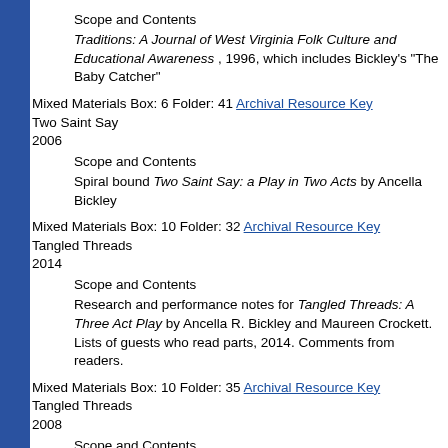Scope and Contents
Traditions: A Journal of West Virginia Folk Culture and Educational Awareness , 1996, which includes Bickley's "The Baby Catcher"
Mixed Materials Box: 6 Folder: 41 Archival Resource Key
Two Saint Say
2006
Scope and Contents
Spiral bound Two Saint Say: a Play in Two Acts by Ancella Bickley
Mixed Materials Box: 10 Folder: 32 Archival Resource Key
Tangled Threads
2014
Scope and Contents
Research and performance notes for Tangled Threads: A Three Act Play by Ancella R. Bickley and Maureen Crockett. Lists of guests who read parts, 2014. Comments from readers.
Mixed Materials Box: 10 Folder: 35 Archival Resource Key
Tangled Threads
2008
Scope and Contents